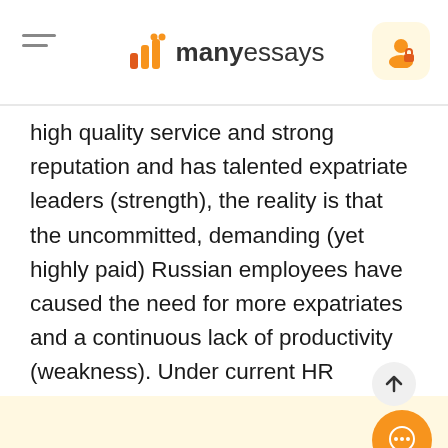manyessays
high quality service and strong reputation and has talented expatriate leaders (strength), the reality is that the uncommitted, demanding (yet highly paid) Russian employees have caused the need for more expatriates and a continuous lack of productivity (weakness). Under current HR circumstances, it cannot mitigate the threat of a competitor establishing a more sustainable model in the future. Due to globalization and the nation's economic development, which brings about greater inflows of tourists and business travelers resulting in greater demand for such hotels, great opportunities exist especially in a key city such as Moscow...